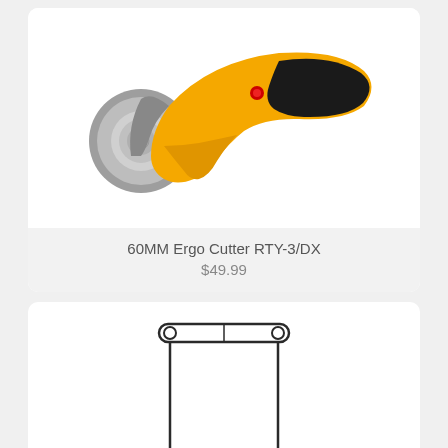[Figure (photo): Yellow and black 60MM Ergo rotary cutter RTY-3/DX with circular blade on the left and ergonomic handle on the right]
60MM Ergo Cutter RTY-3/DX
$49.99
[Figure (illustration): Line drawing/outline illustration of a rectangular product — appears to be a cutting mat or ruler, shown as a simple black outline rectangle with a rounded top bar]